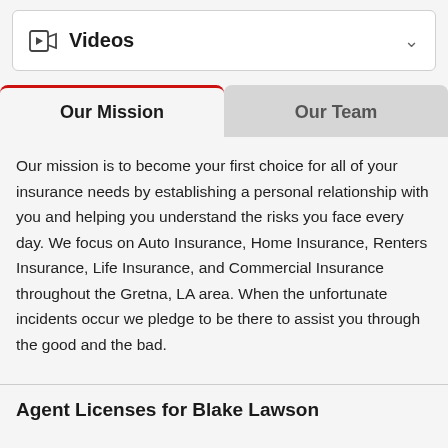Videos
Our Mission
Our Team
Our mission is to become your first choice for all of your insurance needs by establishing a personal relationship with you and helping you understand the risks you face every day. We focus on Auto Insurance, Home Insurance, Renters Insurance, Life Insurance, and Commercial Insurance throughout the Gretna, LA area. When the unfortunate incidents occur we pledge to be there to assist you through the good and the bad.
Agent Licenses for Blake Lawson